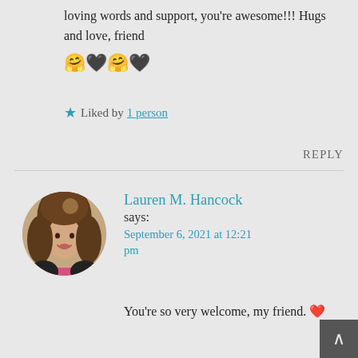loving words and support, you're awesome!!! Hugs and love, friend 🤗🖤🤗🖤
★ Liked by 1 person
REPLY
Lauren M. Hancock says: September 6, 2021 at 12:21 pm
[Figure (photo): Circular avatar photo of Lauren M. Hancock, a woman with long wavy brown hair, smiling]
You're so very welcome, my friend. ❤️